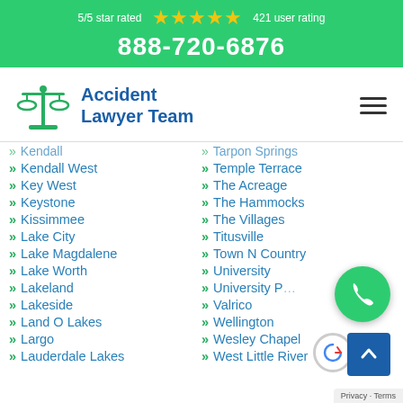5/5 star rated ★★★★★ 421 user rating
888-720-6876
[Figure (logo): Accident Lawyer Team logo with scales of justice icon and blue text]
Kendall West
Key West
Keystone
Kissimmee
Lake City
Lake Magdalene
Lake Worth
Lakeland
Lakeside
Land O Lakes
Largo
Lauderdale Lakes
Tarpon Springs (partial)
Temple Terrace
The Acreage
The Hammocks
The Villages
Titusville
Town N Country
University
University P...
Valrico
Wellington
Wesley Chapel
West Little River